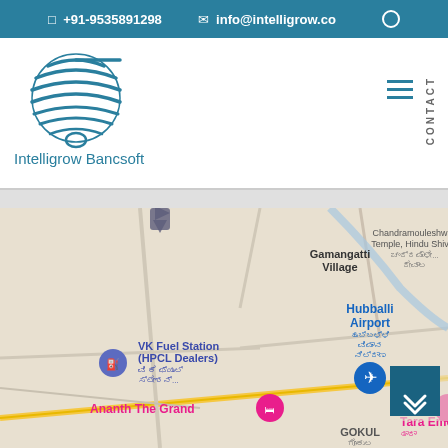+91-9535891298   info@intelligrow.co
[Figure (logo): Intelligrow Bancsoft logo - stylized globe/sphere with horizontal stripe lines in teal/blue color]
Intelligrow Bancsoft
[Figure (map): Google Maps screenshot showing area near Hubballi Airport, with markers for VK Fuel Station (HPCL Dealers), Gamangatti Village, Chandramouleshwa Temple Hindu Shiv, Hubballi Airport, Ananth The Grand, Tara Emerald, Gokul Road area]